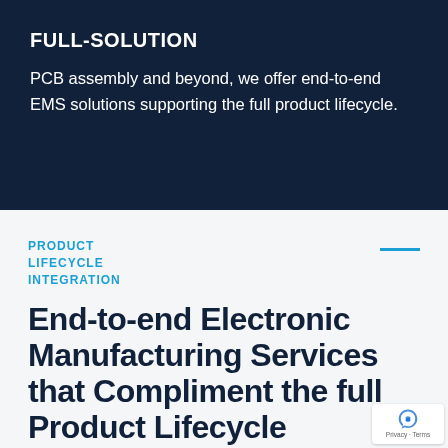FULL-SOLUTION
PCB assembly and beyond, we offer end-to-end EMS solutions supporting the full product lifecycle.
PRODUCT LIFECYCLE INTEGRATION
End-to-end Electronic Manufacturing Services that Compliment the full Product Lifecycle